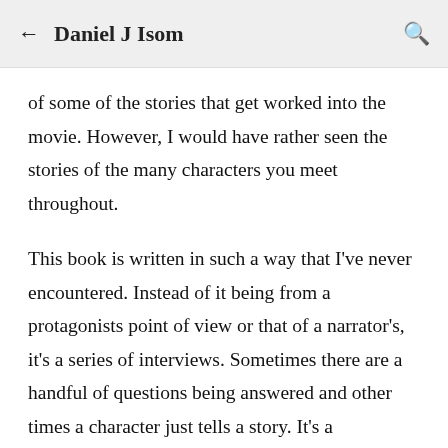Daniel J Isom
of some of the stories that get worked into the movie. However, I would have rather seen the stories of the many characters you meet throughout.
This book is written in such a way that I've never encountered. Instead of it being from a protagonists point of view or that of a narrator's, it's a series of interviews. Sometimes there are a handful of questions being answered and other times a character just tells a story. It's a fascinating way to recount a fictional storyline. The interviewer travels all over the world to find out how various countries dealt with The Great